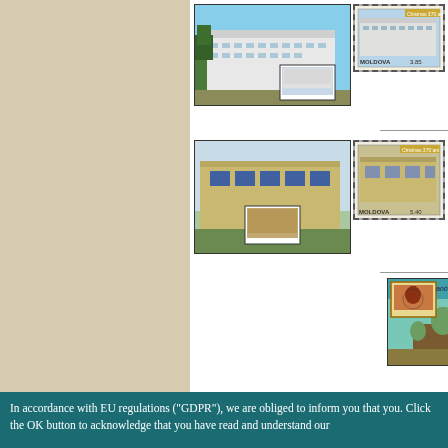[Figure (photo): Left panel with beige/tan background, decorative side panel]
[Figure (photo): Moldova postcard showing modern white building (Central Library or similar), with inset stamp showing same building. MOLDOVA stamp with value visible.]
[Figure (photo): Moldova postcard showing cultural building (theater or cinema), with inset stamp. MOLDOVA stamp beside it.]
[Figure (photo): Moldova postcard showing Orthodox church/cathedral with green domes, teal/turquoise background. MOLDOVA stamp showing 1.50 value church.]
In accordance with EU regulations ("GDPR"), we are obliged to inform you that you. Click the OK button to acknowledge that you have read and understand our